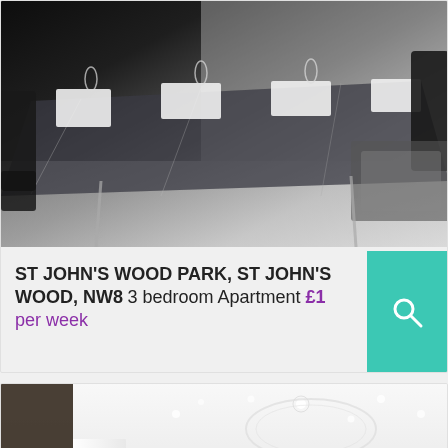[Figure (photo): Interior dining room photo showing a glass dining table with black leather chairs, place settings, and wine glasses in a modern apartment]
ST JOHN'S WOOD PARK, ST JOHN'S WOOD, NW8 3 bedroom Apartment £1 per week
[Figure (photo): Interior living room photo showing a modern open-plan apartment with white walls, light wood floors, recessed lighting, dark sofa, and dining area in the background]